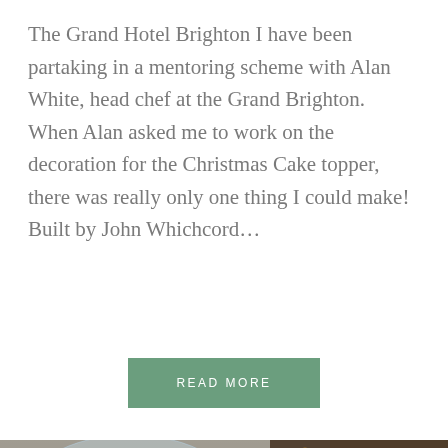The Grand Hotel Brighton I have been partaking in a mentoring scheme with Alan White, head chef at the Grand Brighton. When Alan asked me to work on the decoration for the Christmas Cake topper, there was really only one thing I could make! Built by John Whichcord...
READ MORE
[Figure (photo): Photo of a decorated gingerbread/candy house wrapped in clear cellophane with colorful candy decorations, alongside gingerbread man cookies decorated with colorful candy buttons, arranged on a dark wooden surface.]